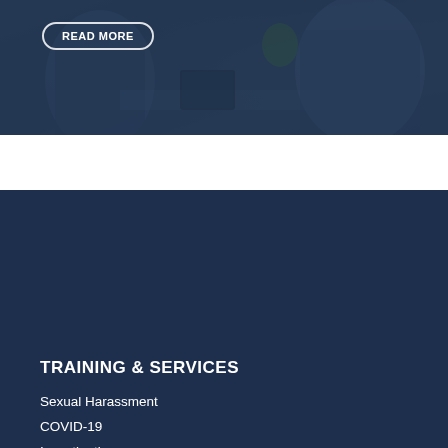[Figure (photo): Business people at a meeting table, dark overlay, with a READ MORE button overlaid]
TRAINING & SERVICES
Sexual Harassment
COVID-19
Investigations
Course Library